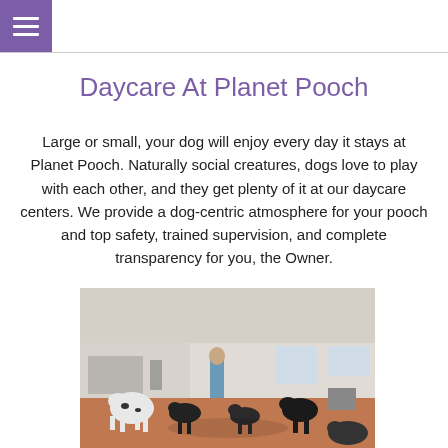Daycare At Planet Pooch
Large or small, your dog will enjoy every day it stays at Planet Pooch. Naturally social creatures, dogs love to play with each other, and they get plenty of it at our daycare centers. We provide a dog-centric atmosphere for your pooch and top safety, trained supervision, and complete transparency for you, the Owner.
[Figure (photo): A dog handler standing in a large open room with an orange floor, surrounded by several dogs of various breeds including a Dalmatian and black dogs, with white walls and windows in the background.]